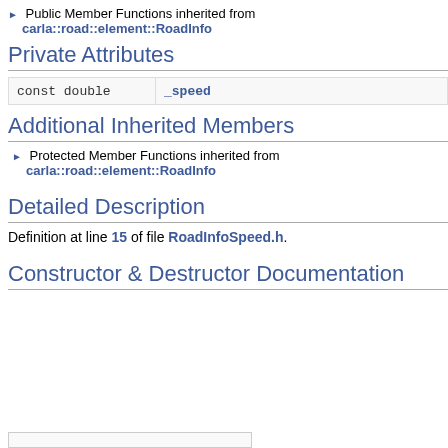▶ Public Member Functions inherited from carla::road::element::RoadInfo
Private Attributes
| Type | Name |
| --- | --- |
| const double | _speed |
Additional Inherited Members
▶ Protected Member Functions inherited from carla::road::element::RoadInfo
Detailed Description
Definition at line 15 of file RoadInfoSpeed.h.
Constructor & Destructor Documentation